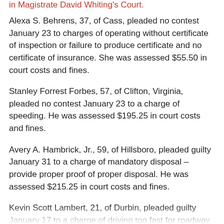in Magistrate David Whiting's Court.
Alexa S. Behrens, 37, of Cass, pleaded no contest January 23 to charges of operating without certificate of inspection or failure to produce certificate and no certificate of insurance. She was assessed $55.50 in court costs and fines.
Stanley Forrest Forbes, 57, of Clifton, Virginia, pleaded no contest January 23 to a charge of speeding. He was assessed $195.25 in court costs and fines.
Avery A. Hambrick, Jr., 59, of Hillsboro, pleaded guilty January 31 to a charge of mandatory disposal – provide proper proof of proper disposal. He was assessed $215.25 in court costs and fines.
Kevin Scott Lambert, 21, of Durbin, pleaded guilty January 17 to a charge of driving too fast for roadway conditions. He was assessed $245.25 in court costs and fines.